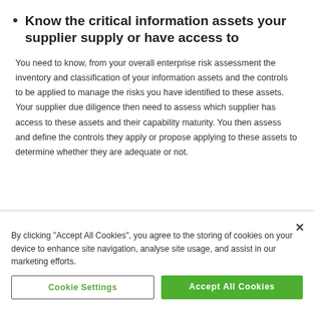Know the critical information assets your supplier supply or have access to
You need to know, from your overall enterprise risk assessment the inventory and classification of your information assets and the controls to be applied to manage the risks you have identified to these assets. Your supplier due diligence then need to assess which supplier has access to these assets and their capability maturity. You then assess and define the controls they apply or propose applying to these assets to determine whether they are adequate or not.
By clicking "Accept All Cookies", you agree to the storing of cookies on your device to enhance site navigation, analyse site usage, and assist in our marketing efforts.